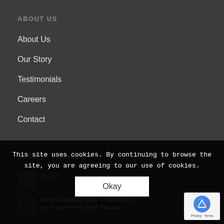ABOUT US
About Us
Our Story
Testimonials
Careers
Contact
RECENT POSTS
This site uses cookies. By continuing to browse the site, you are agreeing to our use of cookies.
Okay